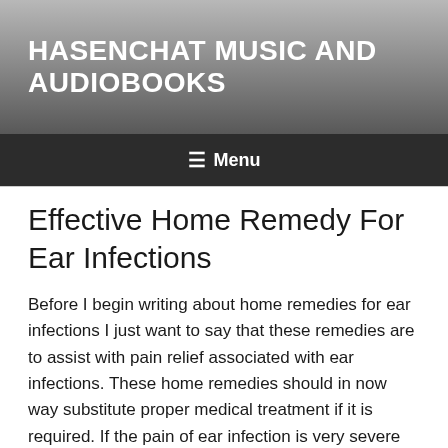HASENCHAT MUSIC AND AUDIOBOOKS
☰ Menu
Effective Home Remedy For Ear Infections
Before I begin writing about home remedies for ear infections I just want to say that these remedies are to assist with pain relief associated with ear infections. These home remedies should in now way substitute proper medical treatment if it is required. If the pain of ear infection is very severe and does not seem to be subsiding then you need to get a proper diagnosis and